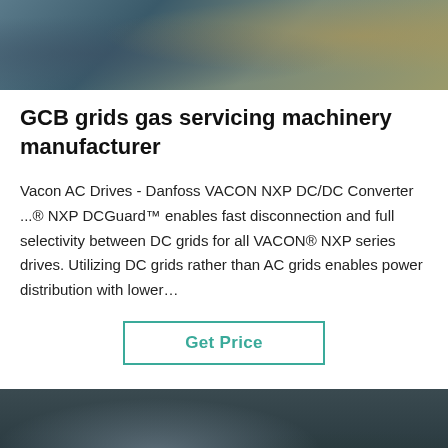[Figure (photo): Close-up photo of industrial machinery or equipment, blurred background with yellowish and blue-gray tones]
GCB grids gas servicing machinery manufacturer
Vacon AC Drives - Danfoss VACON NXP DC/DC Converter ...® NXP DCGuard™ enables fast disconnection and full selectivity between DC grids for all VACON® NXP series drives. Utilizing DC grids rather than AC grids enables power distribution with lower…
Get Price
[Figure (photo): Industrial interior photo showing pipes, columns, and machinery in a dark factory setting]
Leave Message | Chat Online